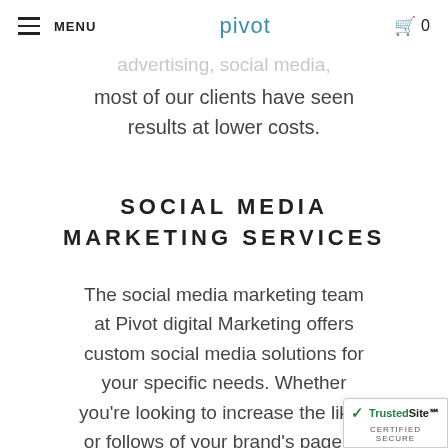MENU | pivot | 0
advertising, social media, most of our clients have seen results at lower costs.
SOCIAL MEDIA MARKETING SERVICES
The social media marketing team at Pivot digital Marketing offers custom social media solutions for your specific needs. Whether you're looking to increase the likes or follows of your brand's page or if you need a specific campaign to generate revenue, ROI and new...